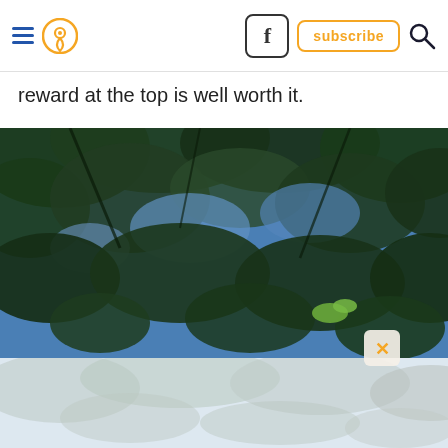[Navigation header with hamburger menu, location pin icon, Facebook button, subscribe button, search icon]
reward at the top is well worth it.
[Figure (photo): Upward-looking photograph through tree canopy showing green leaves against a blue sky, with a faded/reflected version of a similar tree image below.]